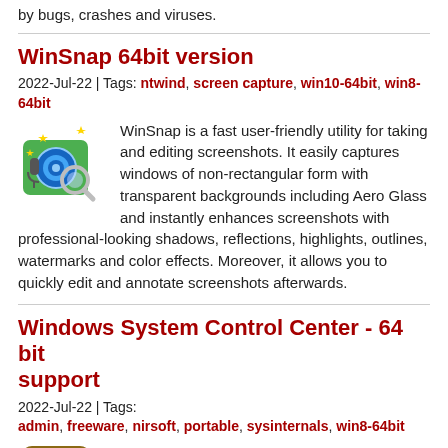by bugs, crashes and viruses.
WinSnap 64bit version
2022-Jul-22 | Tags: ntwind, screen capture, win10-64bit, win8-64bit
WinSnap is a fast user-friendly utility for taking and editing screenshots. It easily captures windows of non-rectangular form with transparent backgrounds including Aero Glass and instantly enhances screenshots with professional-looking shadows, reflections, highlights, outlines, watermarks and color effects. Moreover, it allows you to quickly edit and annotate screenshots afterwards.
Windows System Control Center - 64 bit support
2022-Jul-22 | Tags:
admin, freeware, nirsoft, portable, sysinternals, win8-64bit
WSCC is a free, portable program that allows you to install, update, execute and organize the utilities from various system utility suites.